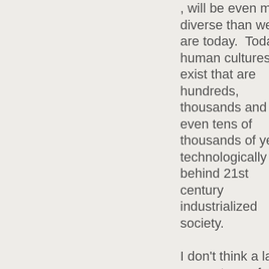, will be even more diverse than we are today.  Today, human cultures exist that are hundreds, thousands and even tens of thousands of years technologically behind 21st century industrialized society.
I don't think a large percentage of advanced ETs will be